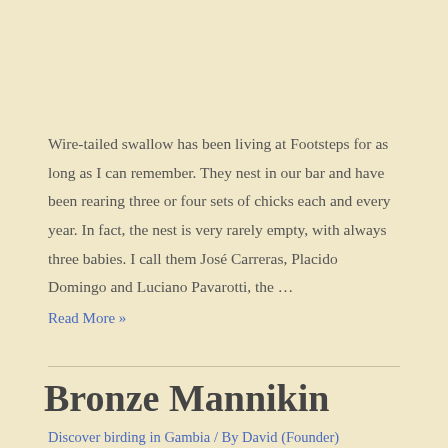Wire-tailed swallow has been living at Footsteps for as long as I can remember. They nest in our bar and have been rearing three or four sets of chicks each and every year. In fact, the nest is very rarely empty, with always three babies. I call them José Carreras, Placido Domingo and Luciano Pavarotti, the …
Read More »
Bronze Mannikin
Discover birding in Gambia / By David (Founder)